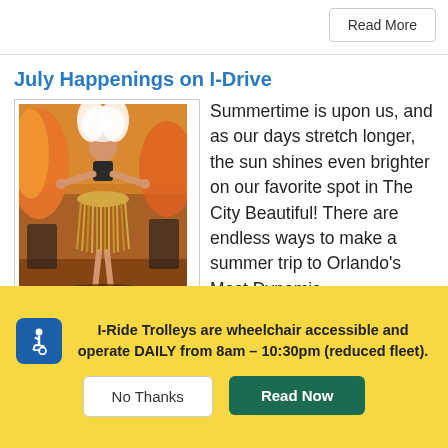Read More
July Happenings on I-Drive
[Figure (photo): A performer in a tropical costume with feathered headdress and grass skirt dancing on stage, with musicians visible in the background.]
Summertime is upon us, and as our days stretch longer, the sun shines even brighter on our favorite spot in The City Beautiful! There are endless ways to make a summer trip to Orlando's Most Dynamic
I-Ride Trolleys are wheelchair accessible and operate DAILY from 8am – 10:30pm (reduced fleet).
No Thanks
Read Now